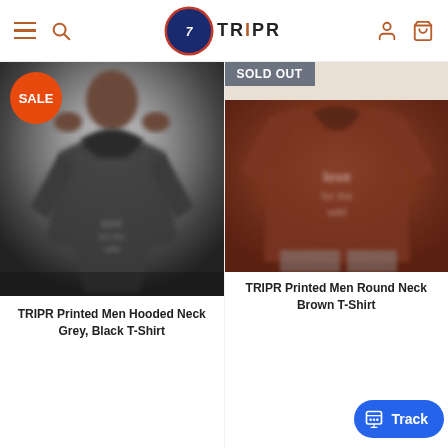TRIPR (logo) — navigation bar with hamburger menu, search, user, and cart icons
[Figure (photo): TRIPR Printed Men Hooded Neck Grey/Black T-Shirt product photo with SALE badge. Man wearing dark grey hoodie, blurred product image.]
[Figure (photo): TRIPR Printed Men Round Neck Brown T-Shirt product photo with SOLD OUT badge. Brown sweatshirt with graphic print.]
TRIPR Printed Men Hooded Neck Grey, Black T-Shirt
TRIPR Printed Men Round Neck Brown T-Shirt